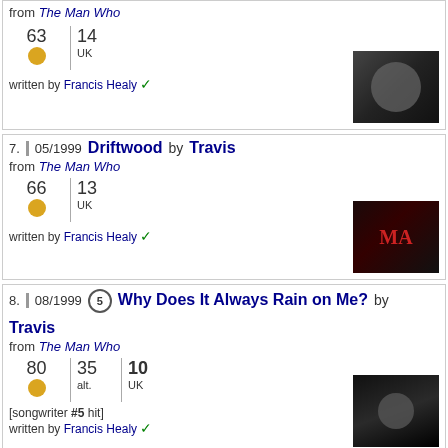from The Man Who
63 | 14 UK
written by Francis Healy ✓
7. 05/1999 Driftwood by Travis from The Man Who
66 | 13 UK
written by Francis Healy ✓
8. 08/1999 ⑤ Why Does It Always Rain on Me? by Travis from The Man Who
80 | 35 alt. | 10 UK
[songwriter #5 hit] written by Francis Healy ✓
9. 11/1999 ④ Turn by Travis from The Man Who